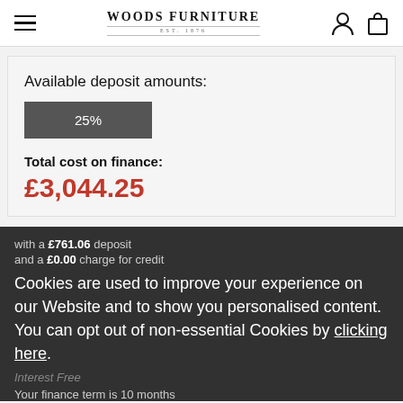Woods Furniture
Available deposit amounts:
25%
Total cost on finance:
£3,044.25
with a £761.06 deposit
and a £0.00 charge for credit
Cookies are used to improve your experience on our Website and to show you personalised content. You can opt out of non-essential Cookies by clicking here.
Interest Free
Your finance term is 10 months
ACCEPT AND CLOSE
with a final monthly payment of £228.51